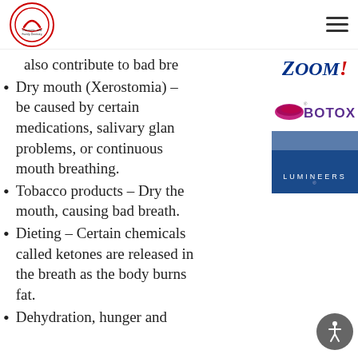Cosmetic and Family Dentistry logo with hamburger menu
[Figure (logo): ZOOM! whitening brand logo in dark blue italic serif with red exclamation mark]
[Figure (logo): BOTOX brand logo in purple bold text with swoosh graphic]
[Figure (logo): LUMINEERS brand logo white text on dark blue background]
also contribute to bad bre...
Dry mouth (Xerostomia) – ... be caused by certain medications, salivary glan... problems, or continuous mouth breathing.
Tobacco products – Dry the mouth, causing bad breath.
Dieting – Certain chemicals called ketones are released in the breath as the body burns fat.
Dehydration, hunger and ...